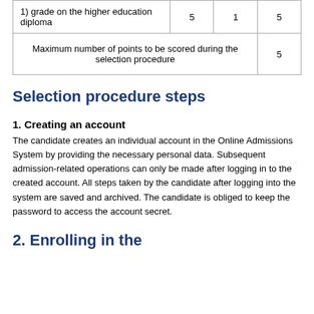| 1) grade on the higher education diploma | 5 | 1 | 5 |
| Maximum number of points to be scored during the selection procedure |  |  | 5 |
Selection procedure steps
1. Creating an account
The candidate creates an individual account in the Online Admissions System by providing the necessary personal data. Subsequent admission-related operations can only be made after logging in to the created account. All steps taken by the candidate after logging into the system are saved and archived. The candidate is obliged to keep the password to access the account secret.
2. Enrolling in the...